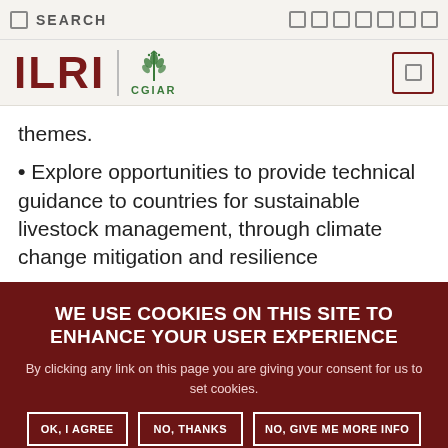SEARCH
[Figure (logo): ILRI CGIAR logo with wheat icon]
themes.
Explore opportunities to provide technical guidance to countries for sustainable livestock management, through climate change mitigation and resilience
WE USE COOKIES ON THIS SITE TO ENHANCE YOUR USER EXPERIENCE
By clicking any link on this page you are giving your consent for us to set cookies.
OK, I AGREE | NO, THANKS | NO, GIVE ME MORE INFO